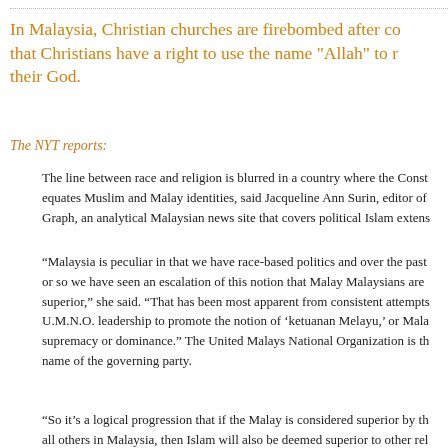In Malaysia, Christian churches are firebombed after courts rule that Christians have a right to use the name "Allah" to refer to their God.
The NYT reports:
The line between race and religion is blurred in a country where the Constitution equates Muslim and Malay identities, said Jacqueline Ann Surin, editor of the Nut Graph, an analytical Malaysian news site that covers political Islam extensively.
“Malaysia is peculiar in that we have race-based politics and over the past 20 years or so we have seen an escalation of this notion that Malay Malaysians are racially superior,” she said. “That has been most apparent from consistent attempts by the U.M.N.O. leadership to promote the notion of ‘ketuanan Melayu,’ or Malay supremacy or dominance.” The United Malays National Organization is the full name of the governing party.
“So it’s a logical progression that if the Malay is considered superior by th... all others in Malaysia, then Islam will also be deemed superior to other rel...